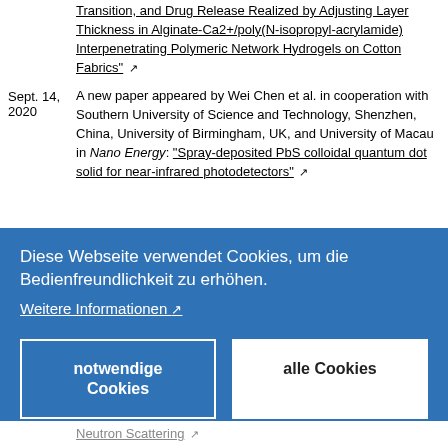Transition, and Drug Release Realized by Adjusting Layer Thickness in Alginate-Ca2+/poly(N-isopropyl-acrylamide) Interpenetrating Polymeric Network Hydrogels on Cotton Fabrics" [external link]
Sept. 14, 2020 — A new paper appeared by Wei Chen et al. in cooperation with Southern University of Science and Technology, Shenzhen, China, University of Birmingham, UK, and University of Macau in Nano Energy: "Spray-deposited PbS colloidal quantum dot solid for near-infrared photodetectors" [external link]
[Figure (screenshot): Cookie consent banner overlay with blue background. Text: 'Diese Webseite verwendet Cookies, um die Bedienfreundlichkeit zu erhöhen.' Link: 'Weitere Informationen [external link]'. Two buttons: 'notwendige Cookies' (outlined) and 'alle Cookies' (white filled).]
Neutron Scattering [external link]